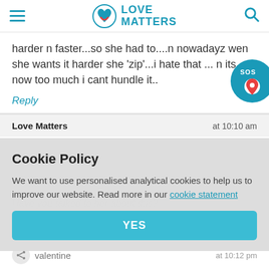Love Matters
harder n faster...so she had to....n nowadayz wen she wants it harder she 'zip'...i hate that ... n its now too much i cant hundle it..
Reply
Love Matters — at 10:10 am
Cookie Policy
We want to use personalised analytical cookies to help us to improve our website. Read more in our cookie statement
YES
valentine — at 10:12 pm